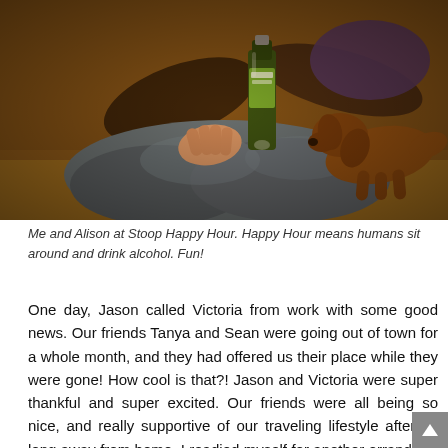[Figure (photo): A person holding a beer bottle with a small brown dog (dachshund) resting on their lap, sitting outdoors on a stoop. Warm golden/orange lighting. Person wearing jeans and a purple top.]
Me and Alison at Stoop Happy Hour. Happy Hour means humans sit around and drink alcohol. Fun!
One day, Jason called Victoria from work with some good news. Our friends Tanya and Sean were going out of town for a whole month, and they had offered us their place while they were gone! How cool is that?! Jason and Victoria were super thankful and super excited. Our friends were all being so nice, and really supportive of our traveling lifestyle after so long away from home. I readied myself for another errand run and another quick drive to another part of Venice. We packed down, said goodbye to our